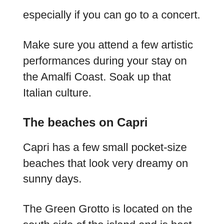especially if you can go to a concert.
Make sure you attend a few artistic performances during your stay on the Amalfi Coast. Soak up that Italian culture.
The beaches on Capri
Capri has a few small pocket-size beaches that look very dreamy on sunny days.
The Green Grotto is located on the south side of the island and is best enjoyed if you swim right into the cave. It is said to be just as beautiful as the Blue Grotto, so I’ve heard.